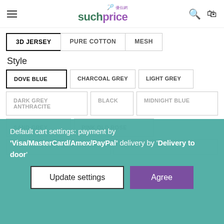suchprice
3D JERSEY | PURE COTTON | MESH
Style
DOVE BLUE | CHARCOAL GREY | LIGHT GREY
DARK GREY ANTHRACITE | BLACK | MIDNIGHT BLUE
SAND GREY | PINK OLD ROSE
LIGHT BLUE DOTS BLUE/SPRINKLES | PINK/SPRINKLES
Default cart settings: payment by 'Visa/MasterCard/Amex/PayPal' delivery by 'Delivery to door'
Update settings | Agree